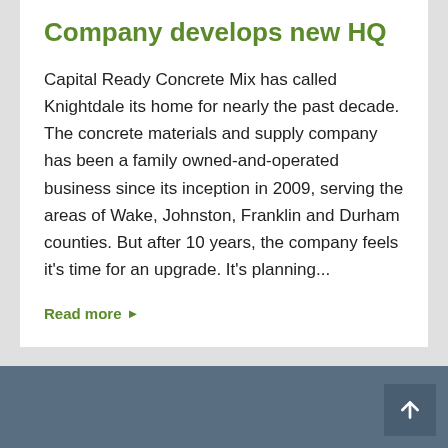Company develops new HQ
Capital Ready Concrete Mix has called Knightdale its home for nearly the past decade. The concrete materials and supply company has been a family owned-and-operated business since its inception in 2009, serving the areas of Wake, Johnston, Franklin and Durham counties. But after 10 years, the company feels it's time for an upgrade. It's planning...
Read more ▶